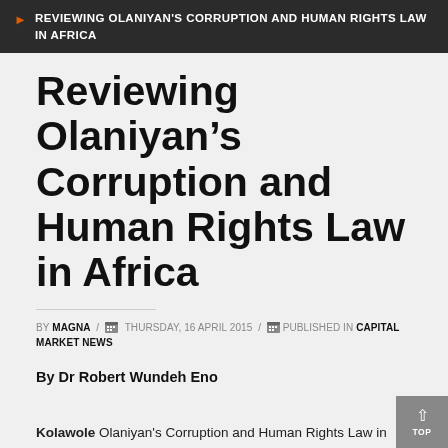REVIEWING OLANIYAN'S CORRUPTION AND HUMAN RIGHTS LAW IN AFRICA
Reviewing Olaniyan's Corruption and Human Rights Law in Africa
BY MAGNA / THURSDAY, 16 APRIL 2015 / PUBLISHED IN CAPITAL MARKET NEWS
By Dr Robert Wundeh Eno
Kolawole Olaniyan's Corruption and Human Rights Law in Africa is a unique departure in many senses from typical books on corruption.